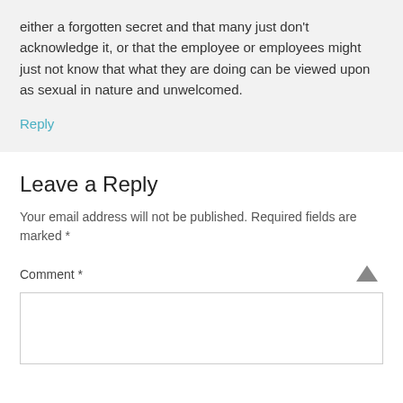either a forgotten secret and that many just don't acknowledge it, or that the employee or employees might just not know that what they are doing can be viewed upon as sexual in nature and unwelcomed.
Reply
Leave a Reply
Your email address will not be published. Required fields are marked *
Comment *